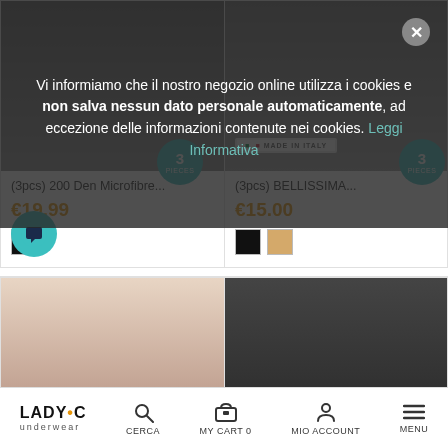Vi informiamo che il nostro negozio online utilizza i cookies e non salva nessun dato personale automaticamente, ad eccezione delle informazioni contenute nei cookies. Leggi Informativa
[Figure (screenshot): Product card: (3pcs) 200 Den Microfibre... priced at €19.99, with a black color swatch and a 3 PIECES badge]
[Figure (screenshot): Product card: (3pcs) BELLISSIMA... priced at €15.00, with black and beige color swatches and a 3 PIECES badge]
[Figure (screenshot): Product card bottom-left: stockings product image partially visible]
[Figure (screenshot): Product card bottom-right: stockings product image partially visible]
LADY•C underwear | CERCA | MY CART 0 | MIO ACCOUNT | MENU